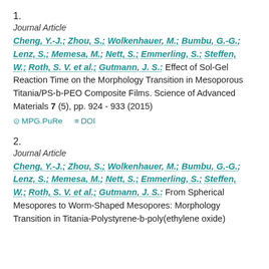1.
Journal Article
Cheng, Y.-J.; Zhou, S.; Wolkenhauer, M.; Bumbu, G.-G.; Lenz, S.; Memesa, M.; Nett, S.; Emmerling, S.; Steffen, W.; Roth, S. V. et al.; Gutmann, J. S.: Effect of Sol-Gel Reaction Time on the Morphology Transition in Mesoporous Titania/PS-b-PEO Composite Films. Science of Advanced Materials 7 (5), pp. 924 - 933 (2015)
MPG.PuRe   DOI
2.
Journal Article
Cheng, Y.-J.; Zhou, S.; Wolkenhauer, M.; Bumbu, G.-G.; Lenz, S.; Memesa, M.; Nett, S.; Emmerling, S.; Steffen, W.; Roth, S. V. et al.; Gutmann, J. S.: From Spherical Mesopores to Worm-Shaped Mesopores: Morphology Transition in Titania-Polystyrene-b-poly(ethylene oxide)